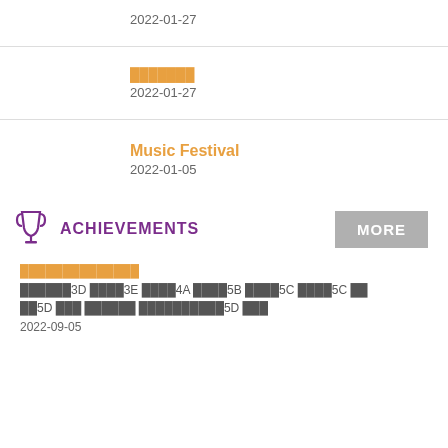2022-01-27
███████
2022-01-27
Music Festival
2022-01-05
ACHIEVEMENTS
██████████████
██████3D ████3E ████4A ████5B ████5C ████5C ██2█5D ███ ██████ █████████5D ███
2022-09-05